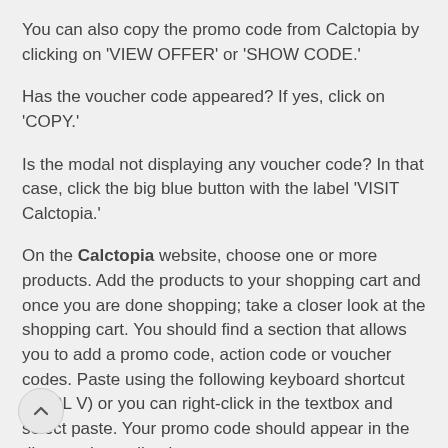You can also copy the promo code from Calctopia by clicking on 'VIEW OFFER' or 'SHOW CODE.'
Has the voucher code appeared? If yes, click on 'COPY.'
Is the modal not displaying any voucher code? In that case, click the big blue button with the label 'VISIT Calctopia.'
On the Calctopia website, choose one or more products. Add the products to your shopping cart and once you are done shopping; take a closer look at the shopping cart. You should find a section that allows you to add a promo code, action code or voucher codes. Paste using the following keyboard shortcut (CTRL V) or you can right-click in the textbox and select paste. Your promo code should appear in the discount immediately.